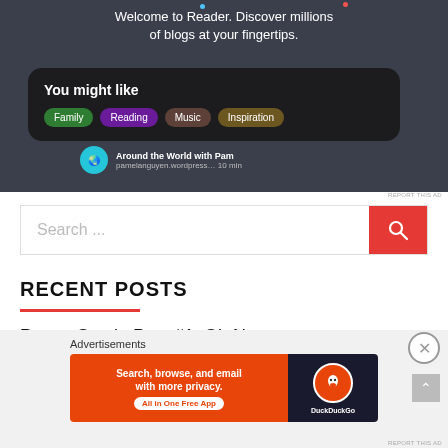[Figure (screenshot): Screenshot of a Reader app showing 'Welcome to Reader. Discover millions of blogs at your fingertips.' with a 'You might like' card containing category pills: Family, Reading, Music, Inspiration. Below shows 'Around the World with Pam' blog entry.]
REPORT THIS AD
[Figure (screenshot): Search bar with 'Search ...' placeholder text and a red search button with magnifying glass icon]
RECENT POSTS
Pantry Staple Post #1: Oh Nuts
Advertisements
[Figure (screenshot): DuckDuckGo advertisement: 'Search, browse, and email with more privacy. All in One Free App' with DuckDuckGo logo on dark background]
REPORT THIS AD